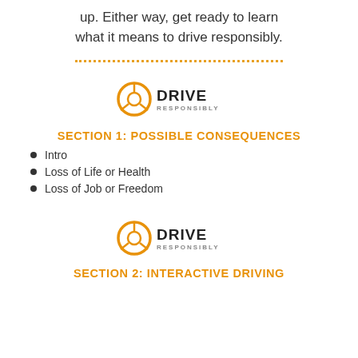up. Either way, get ready to learn what it means to drive responsibly.
[Figure (logo): Drive Responsibly logo with steering wheel icon]
SECTION 1: POSSIBLE CONSEQUENCES
Intro
Loss of Life or Health
Loss of Job or Freedom
[Figure (logo): Drive Responsibly logo with steering wheel icon]
SECTION 2: INTERACTIVE DRIVING